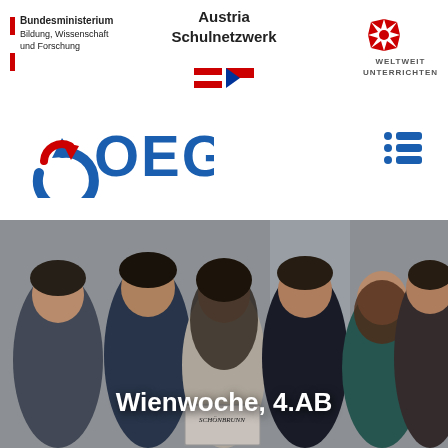Austria
Schulnetzwerk
[Figure (logo): Bundesministerium Bildung, Wissenschaft und Forschung logo with red-white-red Austrian stripe]
[Figure (logo): Weltweit Unterrichten logo with red star icon]
[Figure (illustration): Austrian flag and Czech flag emoji/icons]
[Figure (logo): OEGP logo in blue and red]
[Figure (illustration): Blue menu/list icon (three lines with dots)]
[Figure (photo): Group photo of students smiling indoors, holding a Schönbrunn book]
Wienwoche, 4.AB